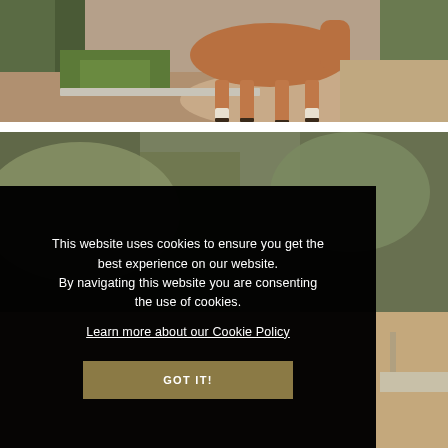[Figure (photo): Photograph of a chestnut horse standing on a dirt path, showing the body and legs of the horse, with trees and green plants in the background.]
[Figure (photo): Photograph of an outdoor equestrian area with trees and a sandy arena visible in the background, partially obscured by a cookie consent overlay.]
This website uses cookies to ensure you get the best experience on our website.
By navigating this website you are consenting the use of cookies.
Learn more about our Cookie Policy
GOT IT!